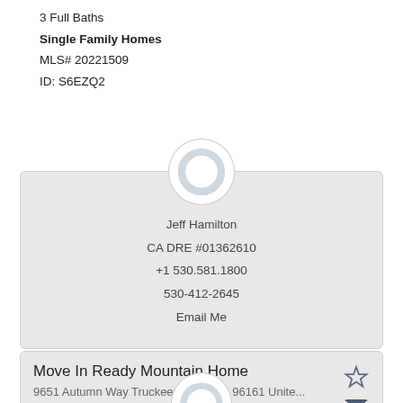3 Full Baths
Single Family Homes
MLS# 20221509
ID: S6EZQ2
[Figure (illustration): Agent profile card with circular avatar placeholder at top, showing agent name Jeff Hamilton, CA DRE #01362610, phone +1 530.581.1800, 530-412-2645, and Email Me link]
Jeff Hamilton
CA DRE #01362610
+1 530.581.1800
530-412-2645
Email Me
[Figure (illustration): Listing card for Move In Ready Mountain Home at 9651 Autumn Way Truckee, California 96161 Unite... with star and envelope icons]
Move In Ready Mountain Home
9651 Autumn Way Truckee, California 96161 Unite...